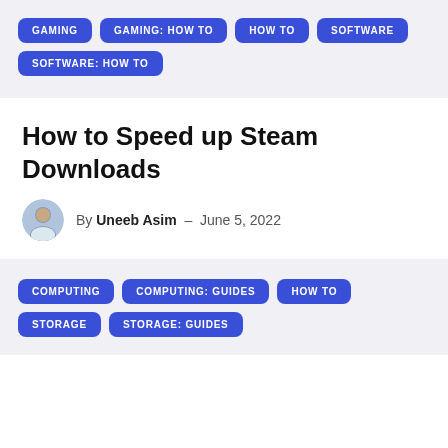GAMING
GAMING: HOW TO
HOW TO
SOFTWARE
SOFTWARE: HOW TO
How to Speed up Steam Downloads
By Uneeb Asim – June 5, 2022
COMPUTING
COMPUTING: GUIDES
HOW TO
STORAGE
STORAGE: GUIDES